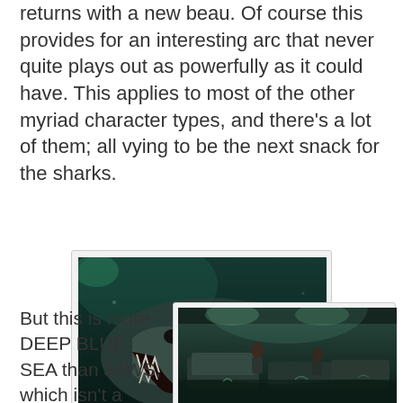returns with a new beau. Of course this provides for an interesting arc that never quite plays out as powerfully as it could have. This applies to most of the other myriad character types, and there's a lot of them; all vying to be the next snack for the sharks.
[Figure (photo): Underwater close-up photo of a large shark with open mouth showing teeth, dark teal/green toned cinematic image]
But this is more DEEP BLUE SEA than JAWS, which isn't a condemnation
[Figure (photo): Dark teal/green toned cinematic image of people on or near vehicles in what appears to be a flooding or wet scene]